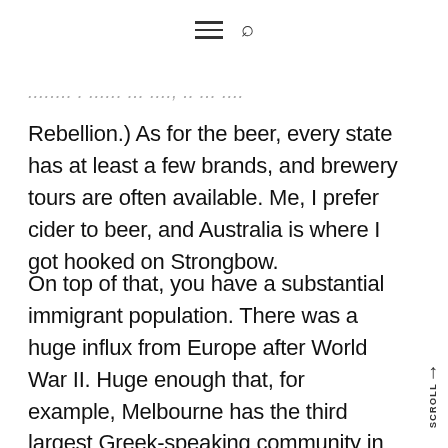≡ 🔍
...read more about the story of the Ham...
Rebellion.) As for the beer, every state has at least a few brands, and brewery tours are often available. Me, I prefer cider to beer, and Australia is where I got hooked on Strongbow.
On top of that, you have a substantial immigrant population. There was a huge influx from Europe after World War II. Huge enough that, for example, Melbourne has the third largest Greek-speaking community in the world, after Athens and Thessalonica. Plus,